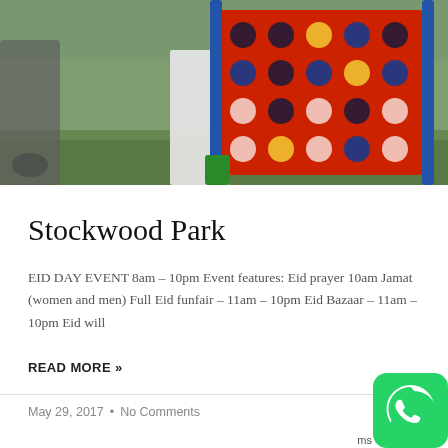[Figure (photo): Outdoor festival photo showing children and adults playing with a large oversized Connect Four game on a grassy field. The game board is red with colorful blue, yellow and green discs. Multiple people visible in background.]
Stockwood Park
EID DAY EVENT 8am – 10pm Event features: Eid prayer 10am Jamat (women and men) Full Eid funfair – 11am – 10pm Eid Bazaar – 11am – 10pm Eid will
READ MORE »
May 29, 2017  •  No Comments